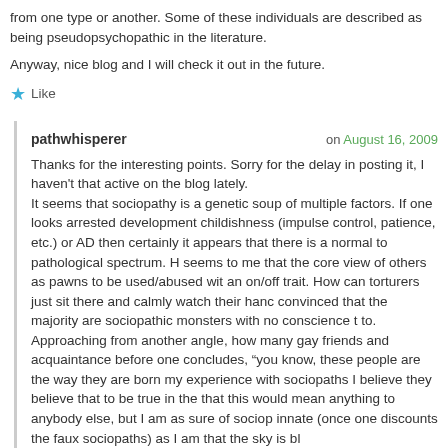from one type or another. Some of these individuals are described as being pseudopsychopathic in the literature.
Anyway, nice blog and I will check it out in the future.
★ Like
pathwhisperer
on August 16, 2009
Thanks for the interesting points. Sorry for the delay in posting it, I haven't that active on the blog lately.
It seems that sociopathy is a genetic soup of multiple factors. If one looks arrested development childishness (impulse control, patience, etc.) or AD then certainly it appears that there is a normal to pathological spectrum. H seems to me that the core view of others as pawns to be used/abused wit an on/off trait. How can torturers just sit there and calmly watch their hanc convinced that the majority are sociopathic monsters with no conscience to.
Approaching from another angle, how many gay friends and acquaintance before one concludes, "you know, these people are the way they are borm my experience with sociopaths I believe they believe that to be true in the that this would mean anything to anybody else, but I am as sure of sociop innate (once one discounts the faux sociopaths) as I am that the sky is bl